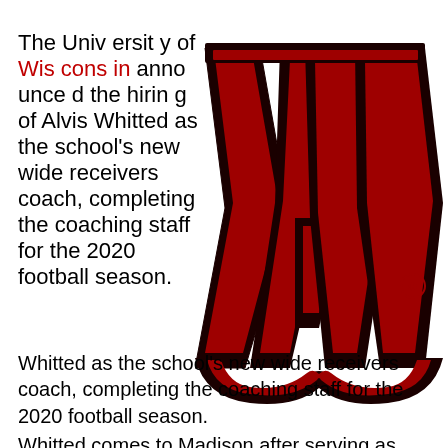The University of Wisconsin announced the hiring of Alvis Whitted as the school's new wide receivers coach, completing the coaching staff for the 2020 football season.
[Figure (logo): University of Wisconsin large red W logo with black outline and registered trademark symbol]
Whitted comes to Madison after serving as wide